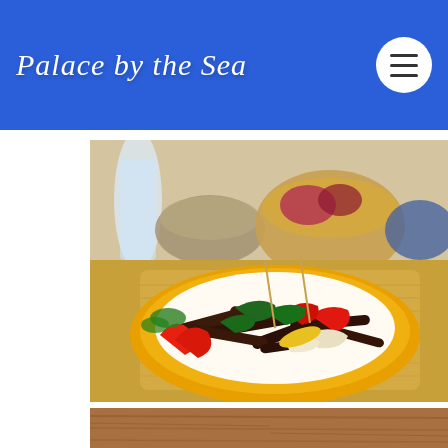Palace by the Sea
[Figure (photo): A plate of stir-fried beef strips with red and green bell peppers and onions, served on a yellow plate with a woven placemat, small toothpick skewers, with blurred background showing a water bottle and basket of food]
[Figure (photo): Partial view of a second food photograph showing a wooden surface, cropped at bottom of page]